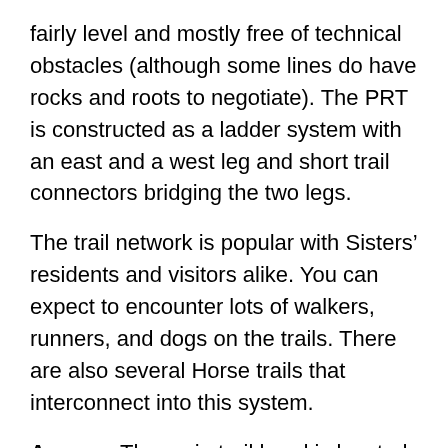fairly level and mostly free of technical obstacles (although some lines do have rocks and roots to negotiate). The PRT is constructed as a ladder system with an east and a west leg and short trail connectors bridging the two legs.
The trail network is popular with Sisters' residents and visitors alike. You can expect to encounter lots of walkers, runners, and dogs on the trails. There are also several Horse trails that interconnect into this system.
Access: The main trail head is located approximately ½-mile south of downtown Sisters just south of the Whychus Creek bridge (parking is limited at this location). Many users park at Village Green Park where ample parking and restrooms are available. Additional access is